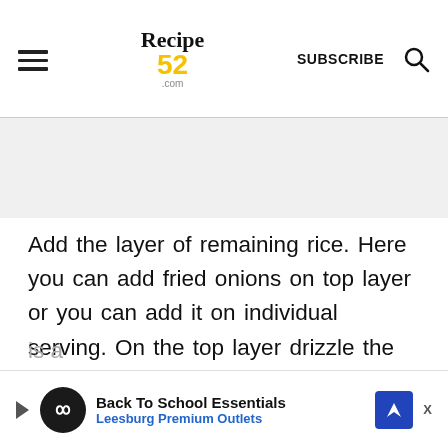Recipe 52 .com  SUBSCRIBE 🔍
Add the layer of remaining rice. Here you can add fried onions on top layer or you can add it on individual serving. On the top layer drizzle the oil that we saved from onion and potatoes frying. Cover tightly and keep khichri for dum for 15-20 minutes on medium low heat. Serve with Khurdi soup and Kachumbar salad. (Khurdi is a ... t
[Figure (other): Advertisement banner: Back To School Essentials - Leesburg Premium Outlets]